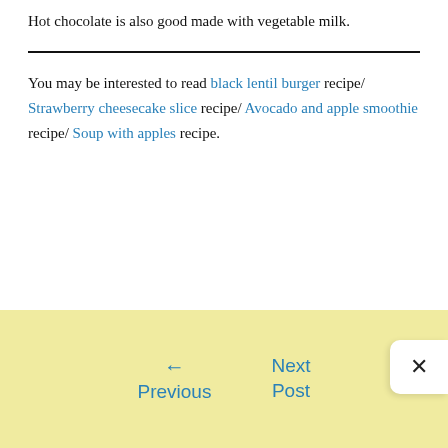Hot chocolate is also good made with vegetable milk.
You may be interested to read black lentil burger recipe/ Strawberry cheesecake slice recipe/ Avocado and apple smoothie recipe/ Soup with apples recipe.
← Previous  Next Post